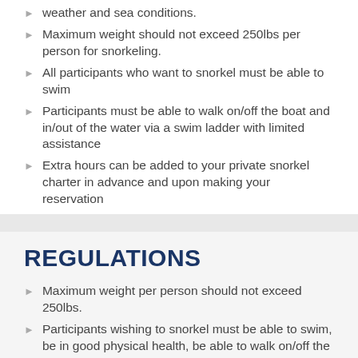weather and sea conditions.
Maximum weight should not exceed 250lbs per person for snorkeling.
All participants who want to snorkel must be able to swim
Participants must be able to walk on/off the boat and in/out of the water via a swim ladder with limited assistance
Extra hours can be added to your private snorkel charter in advance and upon making your reservation
REGULATIONS
Maximum weight per person should not exceed 250lbs.
Participants wishing to snorkel must be able to swim, be in good physical health, be able to walk on/off the boat and enter/exit the water via a swim ladder with limited